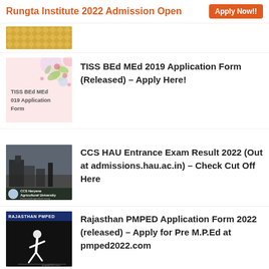Rungta Institute 2022 Admission Open  Apply Now!!
[Figure (photo): Partially visible thumbnail image with gold/yellow decorative pattern]
[Figure (photo): TISS BEd MEd 2019 Application Form thumbnail with pink floral background]
TISS BEd MEd 2019 Application Form (Released) – Apply Here!
[Figure (photo): CCS Haryana Agricultural University dark photograph with logo]
CCS HAU Entrance Exam Result 2022 (Out at admissions.hau.ac.in) – Check Cut Off Here
[Figure (photo): Rajasthan PMPED dark banner with running figure silhouette]
Rajasthan PMPED Application Form 2022 (released) – Apply for Pre M.P.Ed at pmped2022.com